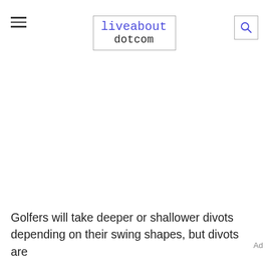liveabout dotcom
Golfers will take deeper or shallower divots depending on their swing shapes, but divots are